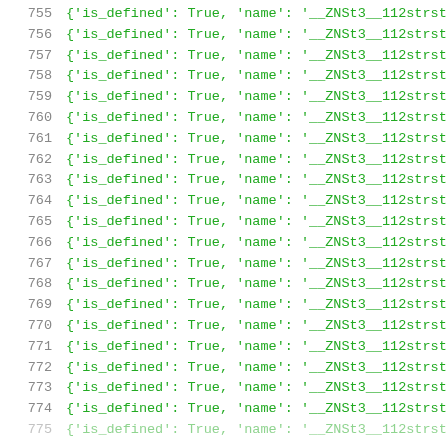755   {'is_defined': True, 'name': '__ZNSt3__112strst
756   {'is_defined': True, 'name': '__ZNSt3__112strst
757   {'is_defined': True, 'name': '__ZNSt3__112strst
758   {'is_defined': True, 'name': '__ZNSt3__112strst
759   {'is_defined': True, 'name': '__ZNSt3__112strst
760   {'is_defined': True, 'name': '__ZNSt3__112strst
761   {'is_defined': True, 'name': '__ZNSt3__112strst
762   {'is_defined': True, 'name': '__ZNSt3__112strst
763   {'is_defined': True, 'name': '__ZNSt3__112strst
764   {'is_defined': True, 'name': '__ZNSt3__112strst
765   {'is_defined': True, 'name': '__ZNSt3__112strst
766   {'is_defined': True, 'name': '__ZNSt3__112strst
767   {'is_defined': True, 'name': '__ZNSt3__112strst
768   {'is_defined': True, 'name': '__ZNSt3__112strst
769   {'is_defined': True, 'name': '__ZNSt3__112strst
770   {'is_defined': True, 'name': '__ZNSt3__112strst
771   {'is_defined': True, 'name': '__ZNSt3__112strst
772   {'is_defined': True, 'name': '__ZNSt3__112strst
773   {'is_defined': True, 'name': '__ZNSt3__112strst
774   {'is_defined': True, 'name': '__ZNSt3__112strst
775   {'is_defined': True, 'name': '__ZNSt3__112strst